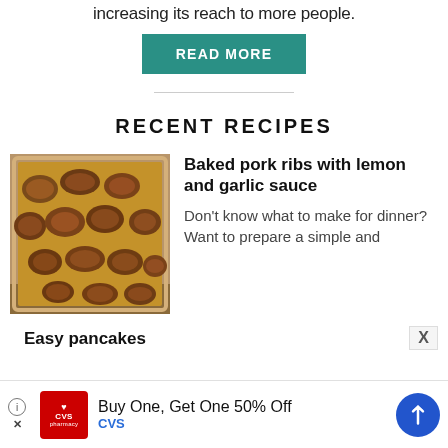increasing its reach to more people.
READ MORE
RECENT RECIPES
[Figure (photo): Baked pork ribs in a baking pan with lemon and garlic sauce]
Baked pork ribs with lemon and garlic sauce
Don't know what to make for dinner? Want to prepare a simple and
Easy pancakes
Buy One, Get One 50% Off CVS